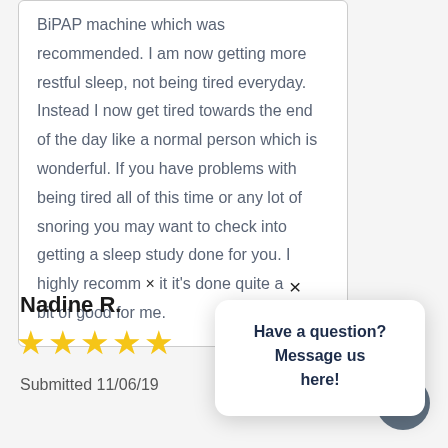BiPAP machine which was recommended. I am now getting more restful sleep, not being tired everyday. Instead I now get tired towards the end of the day like a normal person which is wonderful. If you have problems with being tired all of this time or any lot of snoring you may want to check into getting a sleep study done for you. I highly recomm… it it's done quite a bit of good for me.
Have a question? Message us here!
Nadine R.
★★★★★
Submitted 11/06/19